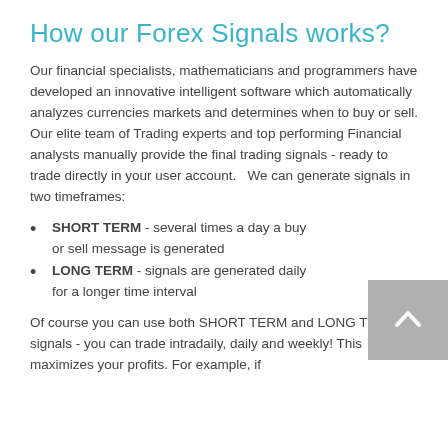How our Forex Signals works?
Our financial specialists, mathematicians and programmers have developed an innovative intelligent software which automatically analyzes currencies markets and determines when to buy or sell. Our elite team of Trading experts and top performing Financial analysts manually provide the final trading signals - ready to trade directly in your user account.   We can generate signals in two timeframes:
SHORT TERM - several times a day a buy or sell message is generated
LONG TERM - signals are generated daily for a longer time interval
Of course you can use both SHORT TERM and LONG TERM signals - you can trade intradaily, daily and weekly! This maximizes your profits. For example, if